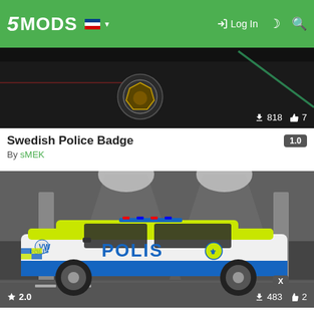5MODS | Log In
[Figure (screenshot): Dark screenshot showing a vehicle with a golden badge/emblem, download count 818, like count 7]
Swedish Police Badge
By sMEK
[Figure (screenshot): Swedish police Volkswagen Arteon car with POLIS livery in white, blue and yellow-green, parked in a garage. Rating 2.0, downloads 483, likes 2]
Volkswagen Arteon Swedish Police
By sMEK